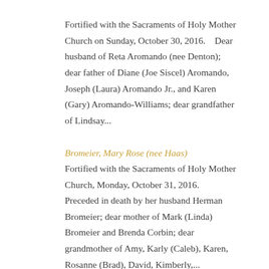Fortified with the Sacraments of Holy Mother Church on Sunday, October 30, 2016.    Dear husband of Reta Aromando (nee Denton); dear father of Diane (Joe Siscel) Aromando, Joseph (Laura) Aromando Jr., and Karen (Gary) Aromando-Williams; dear grandfather of Lindsay...
Bromeier, Mary Rose (nee Haas)
Fortified with the Sacraments of Holy Mother Church, Monday, October 31, 2016.    Preceded in death by her husband Herman Bromeier; dear mother of Mark (Linda) Bromeier and Brenda Corbin; dear grandmother of Amy, Karly (Caleb), Karen, Rosanne (Brad), David, Kimberly,...
Allen, Keren L. (nee Riley)
Passed away Sunday,  October 30, 2016.   Beloved wife